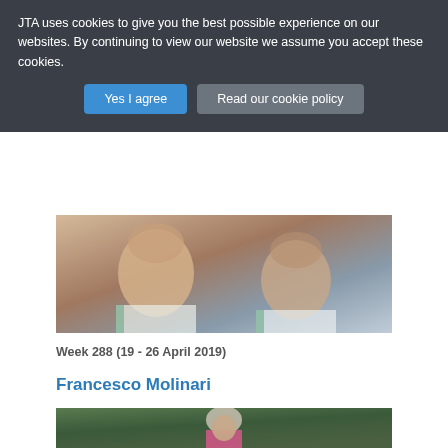JTA uses cookies to give you the best possible experience on our websites. By continuing to view our website we assume you accept these cookies.
[Figure (screenshot): Two cookie consent buttons: 'Yes I agree' (blue) and 'Read our cookie policy' (grey)]
[Figure (photo): Photo of two young women smiling in white sports jerseys]
Week 288 (19 - 26 April 2019)
Francesco Molinari
[Figure (photo): Photo of a golfer wearing a pink polo shirt and light grey cap]